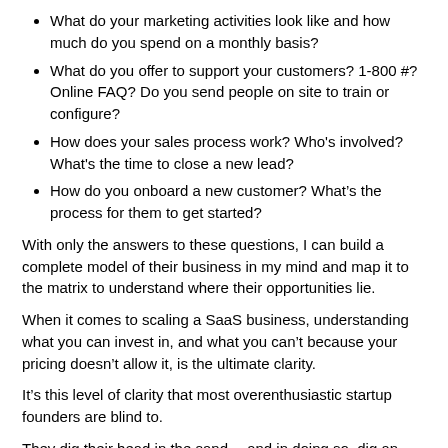What do your marketing activities look like and how much do you spend on a monthly basis?
What do you offer to support your customers? 1-800 #? Online FAQ? Do you send people on site to train or configure?
How does your sales process work? Who's involved? What's the time to close a new lead?
How do you onboard a new customer? What's the process for them to get started?
With only the answers to these questions, I can build a complete model of their business in my mind and map it to the matrix to understand where their opportunities lie.
When it comes to scaling a SaaS business, understanding what you can invest in, and what you can’t because your pricing doesn’t allow it, is the ultimate clarity.
It’s this level of clarity that most overenthusiastic startup founders are blind to.
They dig their head in the sand… and in doing so, dig an early grave for their startup.
Watch the video to understand the two axis’s I use to evaluate startups, and place them on the grid.
Do this for your company, then leave a comment and let me know what you learned.